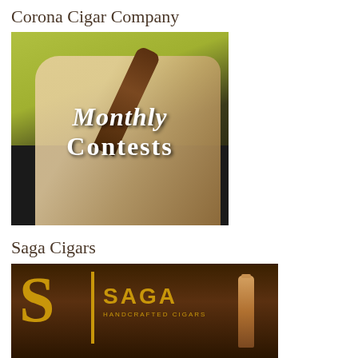Corona Cigar Company
[Figure (photo): Person holding a cigar with text overlay reading 'Monthly Contests' in ornate white lettering on a dark photo background]
Saga Cigars
[Figure (photo): Saga Cigars brand logo on dark wooden background with a cigar, showing gold 'S' letter, divider, and 'SAGA HANDCRAFTED CIGARS' text]